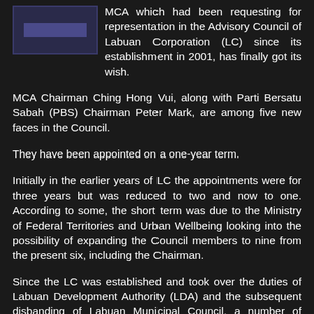[Figure (photo): Small image thumbnail, possibly a logo or photo related to MCA or Labuan Corporation, dark blue background with a banner/text element.]
MCA which had been requesting for representation in the Advisory Council of Labuan Corporation (LC) since its establishment in 2001, has finally got its wish.
MCA Chairman Ching Hong Vui, along with Parti Bersatu Sabah (PBS) Chairman Peter Mark, are among five new faces in the Council.
They have been appointed on a one-year term.
Initially in the earlier years of LC the appointments were for three years but was reduced to two and now to one. According to some, the short term was due to the Ministry of Federal Territories and Urban Wellbeing looking into the possibility of expanding the Council members to nine from the present six, including the Chairman.
Since the LC was established and took over the duties of Labuan Development Authority (LDA) and the subsequent disbanding of Labuan Municipal Council, a number of requests had been made by various parties for the Advisory